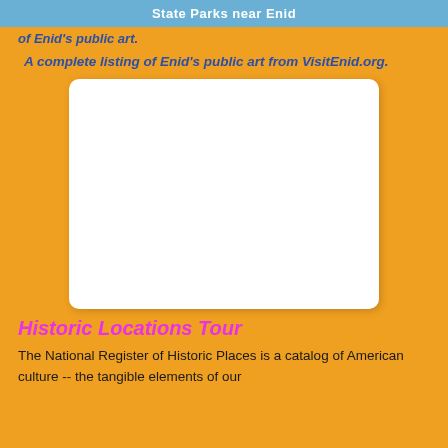State Parks near Enid
of Enid's public art.
A complete listing of Enid's public art from VisitEnid.org.
[Figure (other): Blank white rounded rectangle image placeholder]
Historic Locations Tour
The National Register of Historic Places is a catalog of American culture -- the tangible elements of our